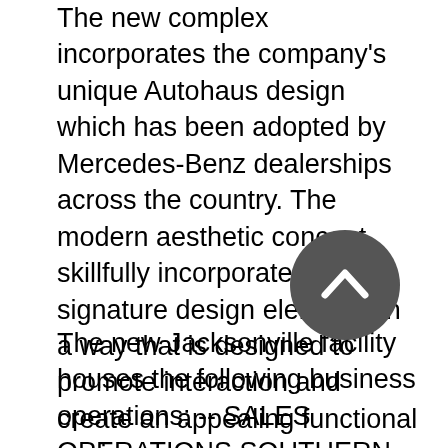The new complex incorporates the company's unique Autohaus design which has been adopted by Mercedes-Benz dealerships across the country. The modern aesthetic concept skillfully incorporates signature design elements in a way that is designed to promote interaction and create an appealing functional environment...
The new Jacksonville facility houses the following business operations: -- SALES OPERATIONS SOUTHERN REGION OFFICE -- The Southern Region MBUSA office supports 102 MBUSA dealerships with sales and fixed operations across 12 states including Florida, Arkansas, Louisiana, Oklahoma, Alabama, Mississippi, Tennessee, Georgia, North Carolina, South Carolina, Virginia, and Texas as well as Puerto Rico. MBUSA has three other regional offices in the U.S.: Parsippany, NJ, Rosemont, IL and Costa Mesa, CA. -- PARTS DISTRIBUTION CENTER -- A new addition to MBUSA operation in Jacksonville, the Parts Distribution Center (PDC) supports approximately 70 MBUSA dealers in the Southeast with parts supply. The PDC will house about 15 percent of MBUSA overall parts inventory, shipping over 1.2 million lines